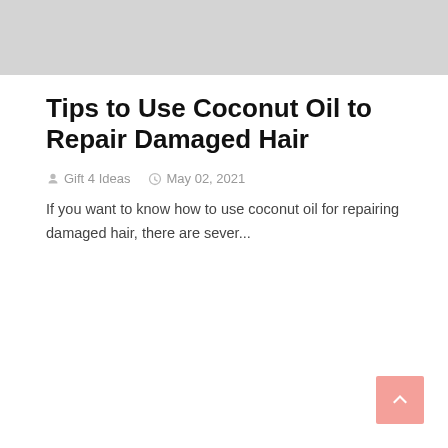[Figure (photo): Gray placeholder image at top of page]
Tips to Use Coconut Oil to Repair Damaged Hair
Gift 4 Ideas   May 02, 2021
If you want to know how to use coconut oil for repairing damaged hair, there are sever...